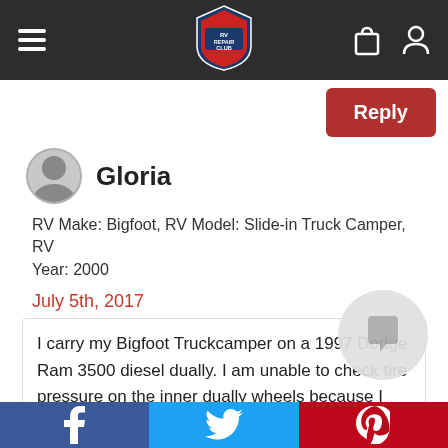RV Repair Club navigation bar
Reply
Gloria
RV Make: Bigfoot, RV Model: Slide-in Truck Camper, RV Year: 2000
July 5th, 2017
I carry my Bigfoot Truckcamper on a 1997 Dodge Ram 3500 diesel dually. I am unable to check tire pressure on the inner dually wheels because I can't reach the valves. I have been researching tire valve extenders and bolt-in stainless steel tire valves. Could you please discuss the pros and cons of each and your recommendations on best choice. Thanks so
f  t  p (social share bar)